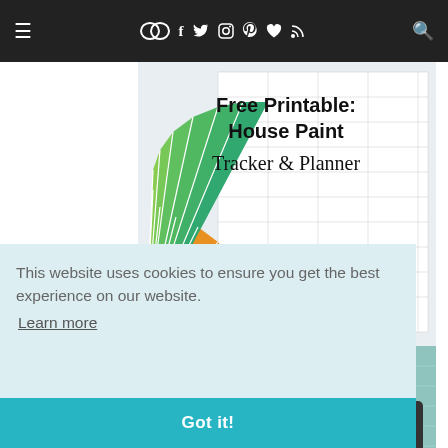≡  [social icons: chat, facebook, twitter, instagram, pinterest, heart, rss]  [search icon]
[Figure (photo): Free Printable: House Paint Tracker & Planner — image showing colorful paint swatch fan over a printed tracker grid]
[Figure (photo): Sewing machine foot on a teal cutting mat with text 'Use This Foot']
This website uses cookies to ensure you get the best experience on our website. Learn more
Got it!